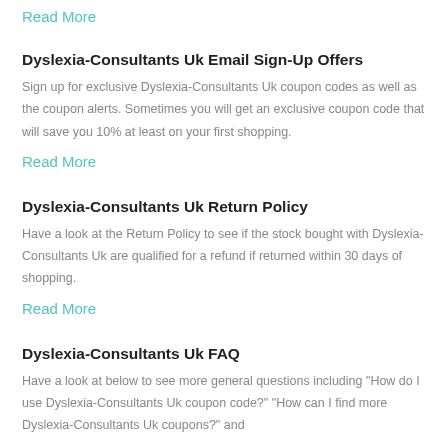Read More
Dyslexia-Consultants Uk Email Sign-Up Offers
Sign up for exclusive Dyslexia-Consultants Uk coupon codes as well as the coupon alerts. Sometimes you will get an exclusive coupon code that will save you 10% at least on your first shopping.
Read More
Dyslexia-Consultants Uk Return Policy
Have a look at the Return Policy to see if the stock bought with Dyslexia-Consultants Uk are qualified for a refund if returned within 30 days of shopping.
Read More
Dyslexia-Consultants Uk FAQ
Have a look at below to see more general questions including "How do I use Dyslexia-Consultants Uk coupon code?" "How can I find more Dyslexia-Consultants Uk coupons?" and